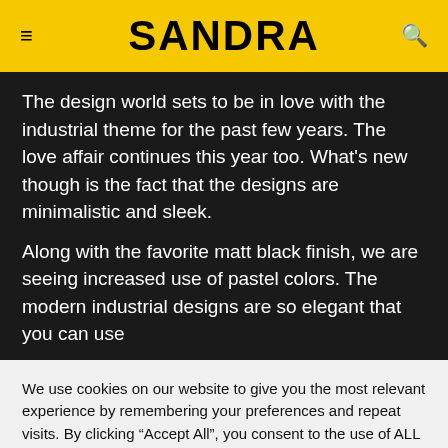SANDRA
The design world sets to be in love with the industrial theme for the past few years. The love affair continues this year too. What's new though is the fact that the designs are minimalistic and sleek.
Along with the favorite matt black finish, we are seeing increased use of pastel colors. The modern industrial designs are so elegant that you can use
We use cookies on our website to give you the most relevant experience by remembering your preferences and repeat visits. By clicking "Accept All", you consent to the use of ALL the cookies. However, you may visit "Cookie Settings" to provide a controlled consent.